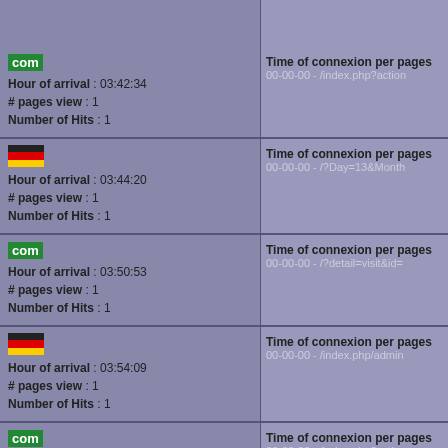| Visitor Info | Connection Info |
| --- | --- |
| com | Hour of arrival : 03:42:34 | # pages view : 1 | Number of Hits : 1 | Time of connexion per pages 00-00-00 - /index.php?action |
| [DE flag] | Hour of arrival : 03:44:20 | # pages view : 1 | Number of Hits : 1 | Time of connexion per pages 00-00-00 - /?Day=13&Month |
| com | Hour of arrival : 03:50:53 | # pages view : 1 | Number of Hits : 1 | Time of connexion per pages 00-00-00 - /?detail=visit&id= |
| [DE flag] | Hour of arrival : 03:54:09 | # pages view : 1 | Number of Hits : 1 | Time of connexion per pages 00-00-00 - /index.php/admin |
| com | Hour of arrival : 03:54:29 | # pages view : 1 | Number of Hits : 1 | Time of connexion per pages 00-00-00 - /index.php?action |
| [DE flag] | Time of connexion per pages |